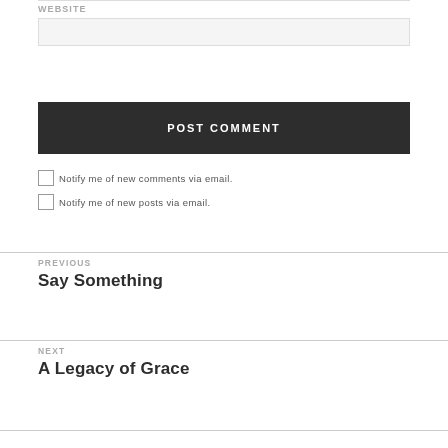WEBSITE
POST COMMENT
Notify me of new comments via email.
Notify me of new posts via email.
PREVIOUS
Say Something
NEXT
A Legacy of Grace